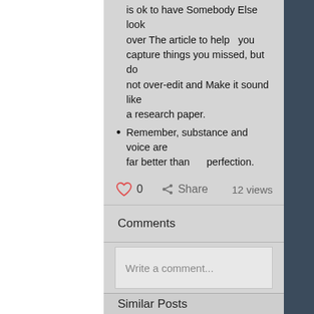is ok to have Somebody Else look over The article to help you capture things you missed, but do not over-edit and Make it sound like a research paper.
Remember, substance and voice are far better than perfection.
You have got a great essay in you!
0   Share   12 views
Comments
Write a comment...
Similar Posts